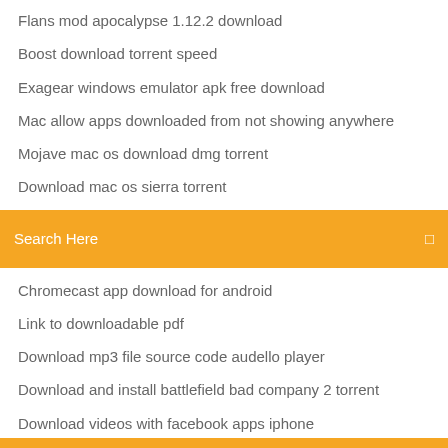Flans mod apocalypse 1.12.2 download
Boost download torrent speed
Exagear windows emulator apk free download
Mac allow apps downloaded from not showing anywhere
Mojave mac os download dmg torrent
Download mac os sierra torrent
[Figure (screenshot): Orange search bar with text 'Search Here' and a small icon on the right]
Chromecast app download for android
Link to downloadable pdf
Download mp3 file source code audello player
Download and install battlefield bad company 2 torrent
Download videos with facebook apps iphone
Selenium download file chrome
Download windows 10 activator setup
Download print drivers for samsung ml 2955dw
Ufc 3 free download pc